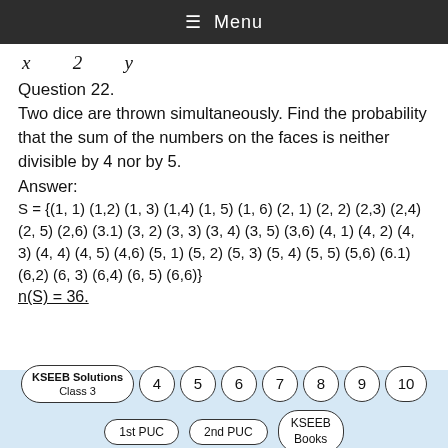≡ Menu
Question 22.
Two dice are thrown simultaneously. Find the probability that the sum of the numbers on the faces is neither divisible by 4 nor by 5.
Answer:
S = {(1, 1) (1,2) (1, 3) (1,4) (1, 5) (1, 6) (2, 1) (2, 2) (2,3) (2,4) (2, 5) (2,6) (3.1) (3, 2) (3, 3) (3, 4) (3, 5) (3,6) (4, 1) (4, 2) (4, 3) (4, 4) (4, 5) (4,6) (5, 1) (5, 2) (5, 3) (5, 4) (5, 5) (5,6) (6.1) (6,2) (6, 3) (6,4) (6, 5) (6,6)}
n(S) = 36.
KSEEB Solutions Class 3 | 4 | 5 | 6 | 7 | 8 | 9 | 10 | 1st PUC | 2nd PUC | KSEEB Books